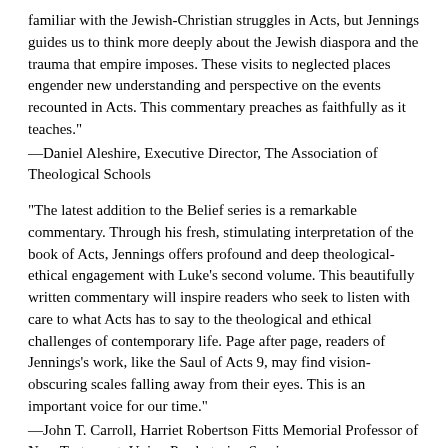familiar with the Jewish-Christian struggles in Acts, but Jennings guides us to think more deeply about the Jewish diaspora and the trauma that empire imposes. These visits to neglected places engender new understanding and perspective on the events recounted in Acts. This commentary preaches as faithfully as it teaches."
—Daniel Aleshire, Executive Director, The Association of Theological Schools
"The latest addition to the Belief series is a remarkable commentary. Through his fresh, stimulating interpretation of the book of Acts, Jennings offers profound and deep theological-ethical engagement with Luke's second volume. This beautifully written commentary will inspire readers who seek to listen with care to what Acts has to say to the theological and ethical challenges of contemporary life. Page after page, readers of Jennings's work, like the Saul of Acts 9, may find vision-obscuring scales falling away from their eyes. This is an important voice for our time."
—John T. Carroll, Harriet Robertson Fitts Memorial Professor of New Testament, Union Presbyterian Seminary
"This commentary on Acts is unlike any I've read, for Willie Jennings is not afraid to read against the grain. His distinctive voice and prophetic reading is essential, especially in these days of social turmoil, days in which the church is seeking to make sense of its seeming loss of cultural power, days in which clarity about Scripture and its transformative power is needed more than ever."